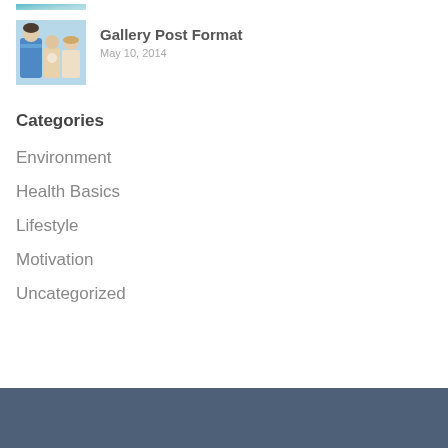[Figure (photo): Partial thumbnail image at top, cropped — showing teal/blue tones]
[Figure (photo): Thumbnail of a medical professional in blue scrubs with patients, mother and child scene]
Gallery Post Format
May 10, 2014
Categories
Environment
Health Basics
Lifestyle
Motivation
Uncategorized